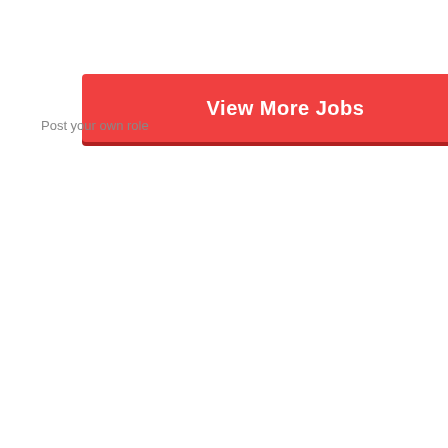[Figure (other): Red button labeled 'View More Jobs' with a blue element partially visible at the right edge]
Post your own role